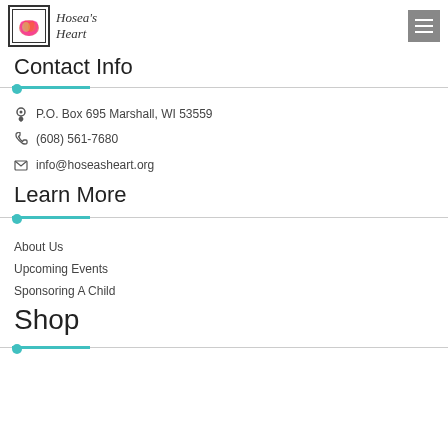[Figure (logo): Hosea's Heart logo with heart image in a box and italic text]
Contact Info
P.O. Box 695 Marshall, WI 53559
(608) 561-7680
info@hoseasheart.org
Learn More
About Us
Upcoming Events
Sponsoring A Child
Shop